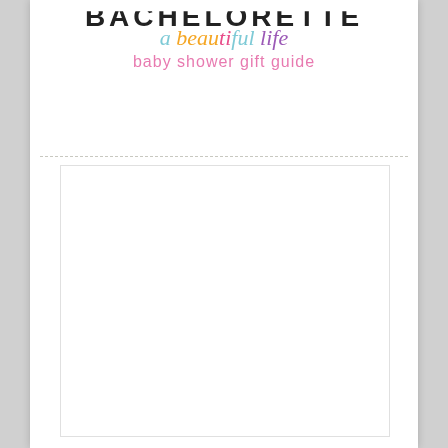a beautiful life baby shower gift guide
[Figure (other): Blank white content area box with light border, placeholder for image or product content]